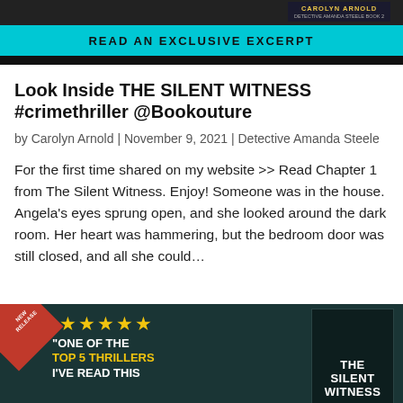[Figure (other): Banner with cyan background and text 'READ AN EXCLUSIVE EXCERPT', with author name 'CAROLYN ARNOLD' tag in upper right corner]
Look Inside THE SILENT WITNESS #crimethriller @Bookouture
by Carolyn Arnold | November 9, 2021 | Detective Amanda Steele
For the first time shared on my website >> Read Chapter 1 from The Silent Witness. Enjoy! Someone was in the house. Angela's eyes sprung open, and she looked around the dark room. Her heart was hammering, but the bedroom door was still closed, and all she could…
[Figure (other): Book promotional banner with dark teal background, red 'NEW RELEASE' corner badge, five yellow stars, quote text 'ONE OF THE TOP 5 THRILLERS I'VE READ THIS' in white and yellow, and a book cover for 'THE SILENT WITNESS' on the right]